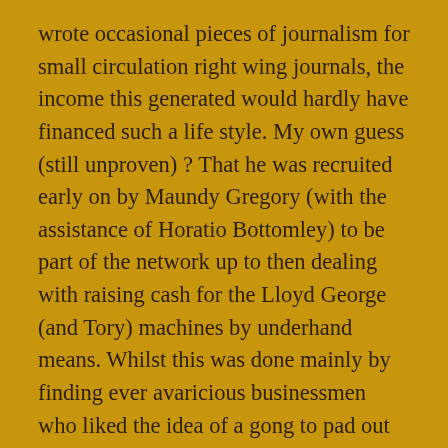wrote occasional pieces of journalism for small circulation right wing journals, the income this generated would hardly have financed such a life style. My own guess (still unproven) ? That he was recruited early on by Maundy Gregory (with the assistance of Horatio Bottomley) to be part of the network up to then dealing with raising cash for the Lloyd George (and Tory) machines by underhand means. Whilst this was done mainly by finding ever avaricious businessmen who liked the idea of a gong to pad out the local Chamber of Commerce dining tables, I can imagine it also involved putting the squeeze on via blackmail if needed –